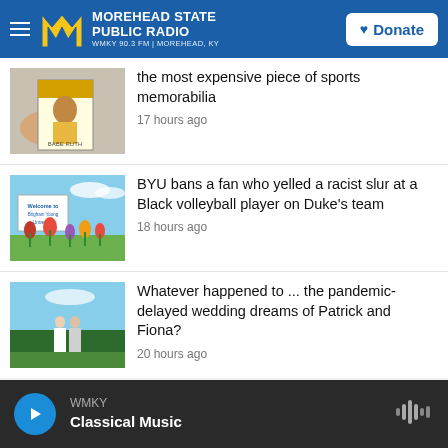MOREHEAD STATE PUBLIC RADIO — WMKY 90.3 FM | MOREHEAD, KY — Donate
[Figure (photo): Hand holding a vintage baseball card]
the most expensive piece of sports memorabilia
17 hours ago
[Figure (photo): BYU Brigham Young University sign with tulips in foreground]
BYU bans a fan who yelled a racist slur at a Black volleyball player on Duke's team
18 hours ago
[Figure (photo): Couple in wedding attire standing outside in front of green hedge]
Whatever happened to ... the pandemic-delayed wedding dreams of Patrick and Fiona?
20 hours ago
WMKY — Classical Music